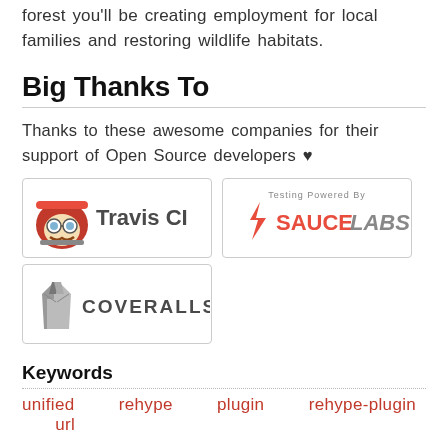forest you'll be creating employment for local families and restoring wildlife habitats.
Big Thanks To
Thanks to these awesome companies for their support of Open Source developers ♥
[Figure (logo): Travis CI logo — cartoon firefighter mascot with 'Travis CI' text]
[Figure (logo): Sauce Labs logo — 'Testing Powered By' above Sauce Labs branding with lightning bolt icon]
[Figure (logo): Coveralls logo — coat/coveralls icon with 'COVERALLS' text]
Keywords
unified   rehype   plugin   rehype-plugin   url